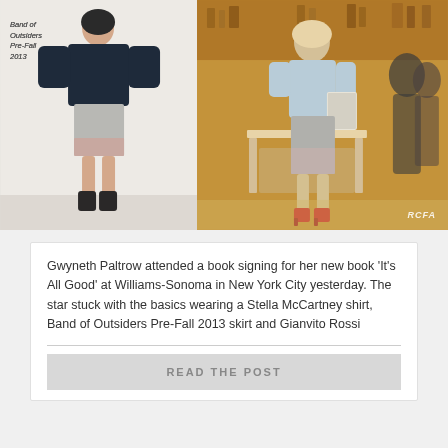[Figure (photo): Two-panel fashion photo. Left: runway model wearing Band of Outsiders Pre-Fall 2013 navy sweater with grey/pink colorblock skirt and black ankle boots against white background. Right: Gwyneth Paltrow at a store event wearing a light blue shirt and grey skirt with red heels, holding a book, standing in front of a wooden display table in a warm-lit retail store. RCFA watermark visible bottom right.]
Gwyneth Paltrow attended a book signing for her new book 'It's All Good' at Williams-Sonoma in New York City yesterday. The star stuck with the basics wearing a Stella McCartney shirt, Band of Outsiders Pre-Fall 2013 skirt and Gianvito Rossi
READ THE POST